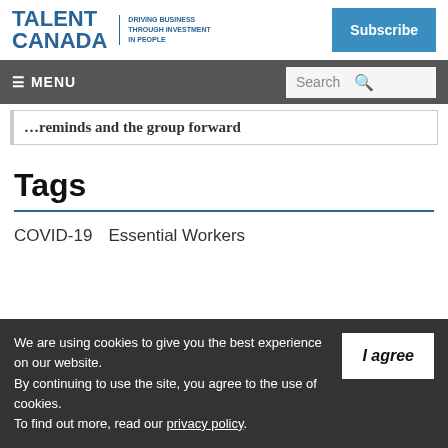TALENT CANADA — DRIVING BUSINESS THROUGH INVESTMENT IN PEOPLE | Subscribe
≡ MENU | Search
…reminds and the group forward
Tags
COVID-19
Essential Workers
We are using cookies to give you the best experience on our website. By continuing to use the site, you agree to the use of cookies. To find out more, read our privacy policy.